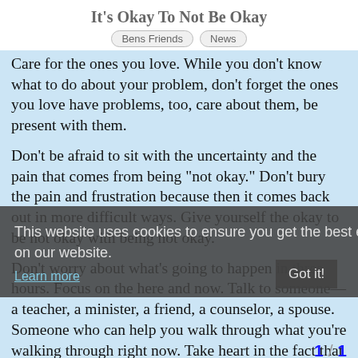It's Okay To Not Be Okay
Bens Friends
News
Care for the ones you love. While you don't know what to do about your problem, don't forget the ones you love have problems, too, care about them, be present with them.
Don't be afraid to sit with the uncertainty and the pain that comes from being "not okay." Don't bury the pain and frustration because then it comes back out in more difficult ways. Give yourself the okay to be not okay with being not okay.
Don't worry about what's going to happen in three hours. Focus on the here and now. Talk to someone—a teacher, a minister, a friend, a counselor, a spouse. Someone who can help you walk through what you're walking through right now. Take heart in the fact that while you might not know what to do about "it," you do have a future. It might not be the one you were expecting, but it's still yours. Fight for it. Concentrate on getting from here to there...
Don't forget you have much to offer.. Yes
This website uses cookies to ensure you get the best experience on our website. Learn more
Got it!
1 / 1